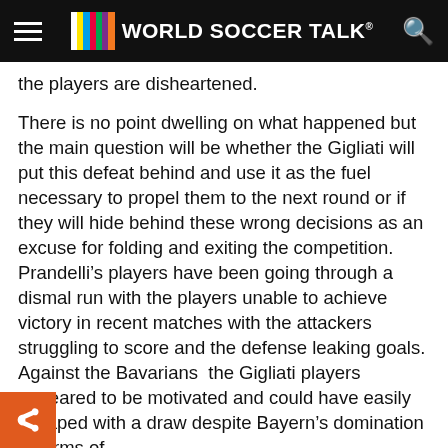World Soccer Talk
the players are disheartened.
There is no point dwelling on what happened but the main question will be whether the Gigliati will put this defeat behind and use it as the fuel necessary to propel them to the next round or if they will hide behind these wrong decisions as an excuse for folding and exiting the competition. Prandelli’s players have been going through a dismal run with the players unable to achieve victory in recent matches with the attackers struggling to score and the defense leaking goals. Against the Bavarians  the Gigliati players appeared to be motivated and could have easily escaped with a draw despite Bayern’s domination in terms of